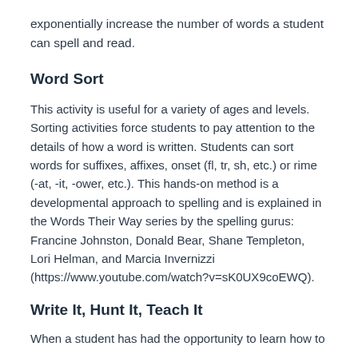exponentially increase the number of words a student can spell and read.
Word Sort
This activity is useful for a variety of ages and levels. Sorting activities force students to pay attention to the details of how a word is written. Students can sort words for suffixes, affixes, onset (fl, tr, sh, etc.) or rime (-at, -it, -ower, etc.). This hands-on method is a developmental approach to spelling and is explained in the Words Their Way series by the spelling gurus: Francine Johnston, Donald Bear, Shane Templeton, Lori Helman, and Marcia Invernizzi (https://www.youtube.com/watch?v=sK0UX9coEWQ).
Write It, Hunt It, Teach It
When a student has had the opportunity to learn how to